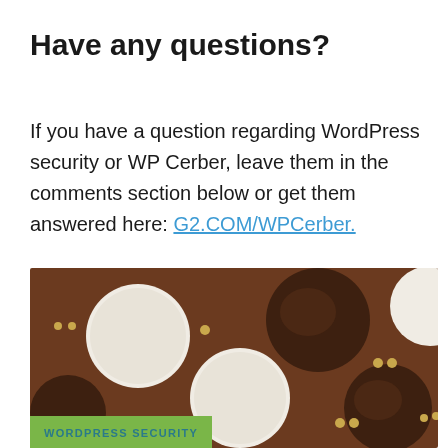Have any questions?
If you have a question regarding WordPress security or WP Cerber, leave them in the comments section below or get them answered here: G2.COM/WPCerber.
[Figure (photo): Overhead flat-lay photo of chocolate and vanilla sandwich cookies on a brown chocolate surface, with small round chocolate pearls scattered around.]
WORDPRESS SECURITY